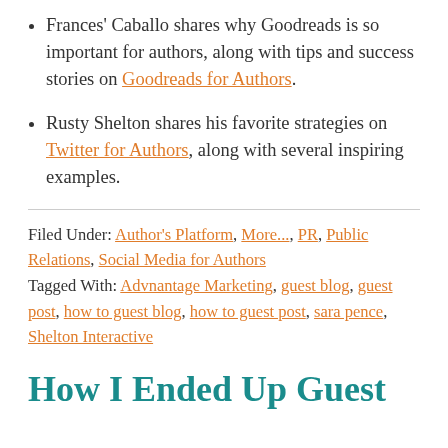Frances' Caballo shares why Goodreads is so important for authors, along with tips and success stories on Goodreads for Authors.
Rusty Shelton shares his favorite strategies on Twitter for Authors, along with several inspiring examples.
Filed Under: Author's Platform, More..., PR, Public Relations, Social Media for Authors
Tagged With: Advnantage Marketing, guest blog, guest post, how to guest blog, how to guest post, sara pence, Shelton Interactive
How I Ended Up Guest